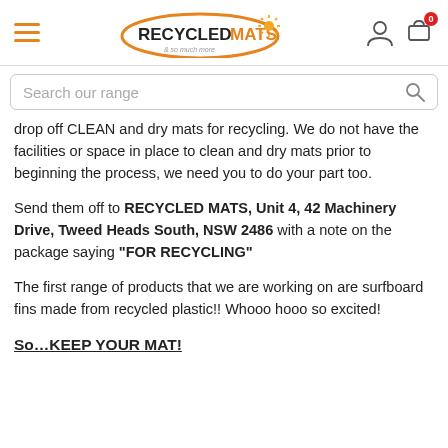RecycledMats logo, hamburger menu, user icon, cart icon with badge 0
Search our range
drop off CLEAN and dry mats for recycling. We do not have the facilities or space in place to clean and dry mats prior to beginning the process, we need you to do your part too.
Send them off to RECYCLED MATS, Unit 4, 42 Machinery Drive, Tweed Heads South, NSW 2486 with a note on the package saying "FOR RECYCLING"
The first range of products that we are working on are surfboard fins made from recycled plastic!! Whooo hooo so excited!
So…KEEP YOUR MAT!